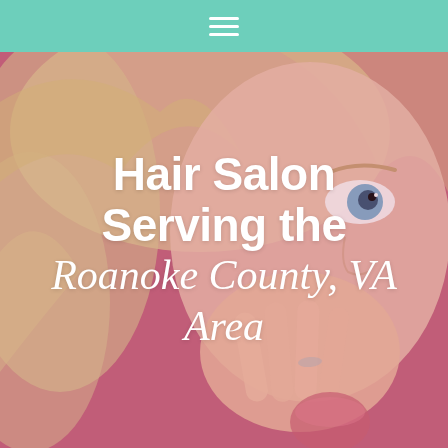Navigation menu (hamburger icon)
[Figure (photo): Close-up photo of a blonde woman with her hand raised near her face, expression of surprise, against a pink/mauve background. The image fills the hero area below the navigation bar.]
Hair Salon Serving the Roanoke County, VA Area